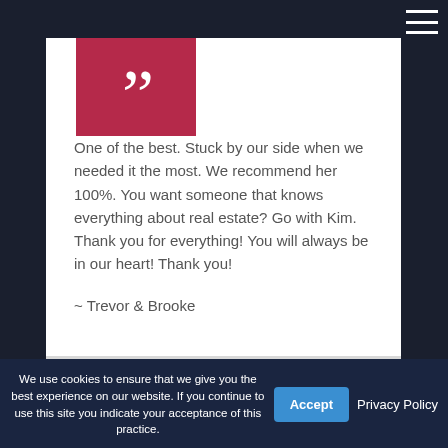[Figure (other): Red quote mark box decoration]
One of the best. Stuck by our side when we needed it the most. We recommend her 100%. You want someone that knows everything about real estate? Go with Kim. Thank you for everything! You will always be in our heart! Thank you!

~ Trevor & Brooke
On behalf of Kim Womble
We use cookies to ensure that we give you the best experience on our website. If you continue to use this site you indicate your acceptance of this practice.
Accept
Privacy Policy